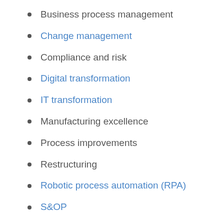Business process management
Change management
Compliance and risk
Digital transformation
IT transformation
Manufacturing excellence
Process improvements
Restructuring
Robotic process automation (RPA)
S&OP
Service operations